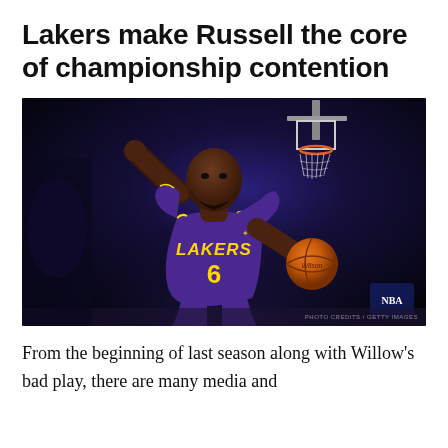Lakers make Russell the core of championship contention
[Figure (photo): LeBron James wearing Lakers purple #6 jersey holding a basketball with one arm raised, in a dark arena with a basketball hoop visible in the upper right]
From the beginning of last season along with Willow's bad play, there are many media and